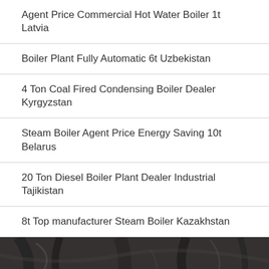Agent Price Commercial Hot Water Boiler 1t Latvia
Boiler Plant Fully Automatic 6t Uzbekistan
4 Ton Coal Fired Condensing Boiler Dealer Kyrgyzstan
Steam Boiler Agent Price Energy Saving 10t Belarus
20 Ton Diesel Boiler Plant Dealer Industrial Tajikistan
8t Top manufacturer Steam Boiler Kazakhstan
[Figure (photo): Dark coal or rock texture background with rough surface, overlaid with bold white text 'PROVIDE YOU']